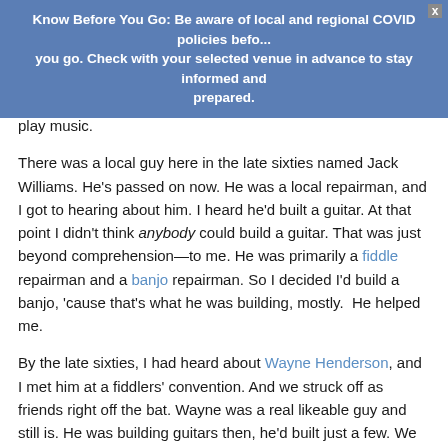Know Before You Go: Be aware of local and regional COVID policies before you go. Check with your selected venue in advance to stay informed and prepared.
play music.

There was a local guy here in the late sixties named Jack Williams. He's passed on now. He was a local repairman, and I got to hearing about him. I heard he'd built a guitar. At that point I didn't think anybody could build a guitar. That was just beyond comprehension—to me. He was primarily a fiddle repairman and a banjo repairman. So I decided I'd build a banjo, 'cause that's what he was building, mostly.  He helped me.

By the late sixties, I had heard about Wayne Henderson, and I met him at a fiddlers' convention. And we struck off as friends right off the bat. Wayne was a real likeable guy and still is. He was building guitars then, he'd built just a few. We became friends, and I got to picking with him more. And that's how I got connected in with instrument repairing and building.